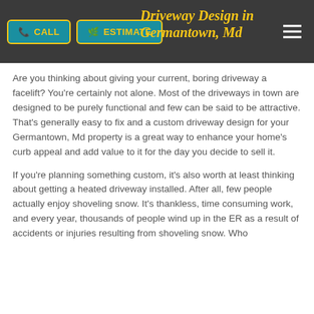CALL   ESTIMATE
Are you thinking about giving your current, boring driveway a facelift? You're certainly not alone. Most of the driveways in town are designed to be purely functional and few can be said to be attractive. That's generally easy to fix and a custom driveway design for your Germantown, Md property is a great way to enhance your home's curb appeal and add value to it for the day you decide to sell it.
If you're planning something custom, it's also worth at least thinking about getting a heated driveway installed. After all, few people actually enjoy shoveling snow. It's thankless, time consuming work, and every year, thousands of people wind up in the ER as a result of accidents or injuries resulting from shoveling snow. Who